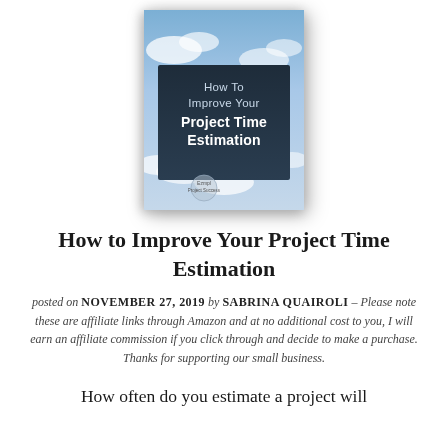[Figure (illustration): Book cover for 'How To Improve Your Project Time Estimation' showing a sky with clouds background and dark navy center panel with white title text, and a small circular logo at the bottom.]
How to Improve Your Project Time Estimation
posted on NOVEMBER 27, 2019 by SABRINA QUAIROLI – Please note these are affiliate links through Amazon and at no additional cost to you, I will earn an affiliate commission if you click through and decide to make a purchase. Thanks for supporting our small business.
How often do you estimate a project will